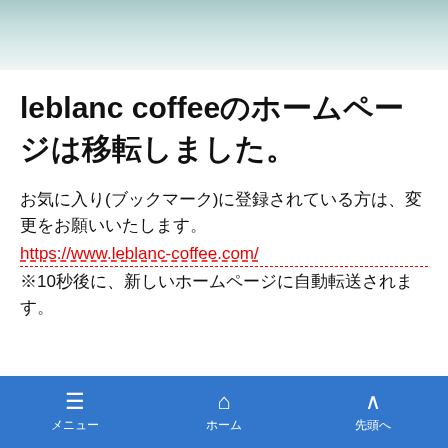leblanc coffeeのホームページは移転しました。
お気に入り(ブックマーク)に登録されている方は、変更をお願いいたします。
https://www.leblanc-coffee.com/
※10秒後に、新しいホームページに自動転送されます。
メニュー　ホーム　先頭へ